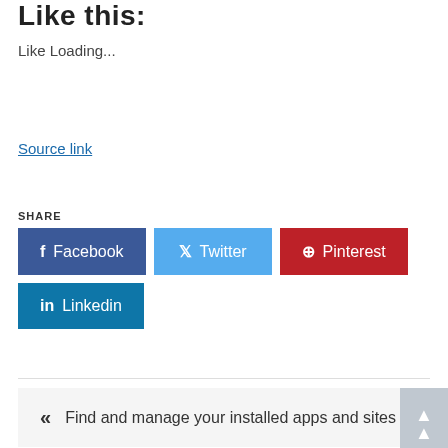Like this:
Like Loading...
Source link
SHARE
[Figure (other): Social share buttons: Facebook (blue), Twitter (light blue), Pinterest (red), Linkedin (teal blue)]
« Find and manage your installed apps and sites